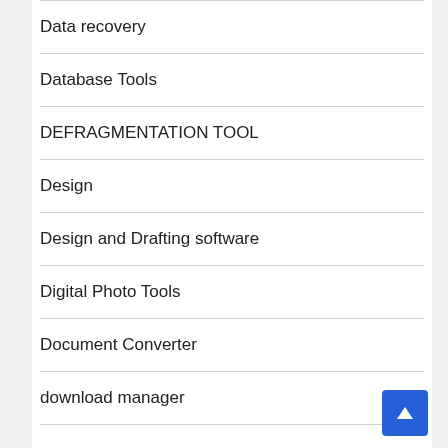Data recovery
Database Tools
DEFRAGMENTATION TOOL
Design
Design and Drafting software
Digital Photo Tools
Document Converter
download manager